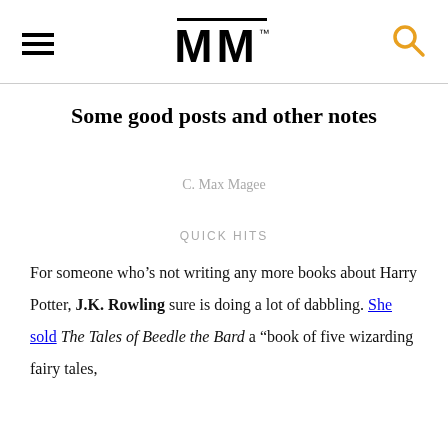MM
Some good posts and other notes
C. Max Magee
QUICK HITS
For someone who’s not writing any more books about Harry Potter, J.K. Rowling sure is doing a lot of dabbling. She sold The Tales of Beedle the Bard a “book of five wizarding fairy tales,